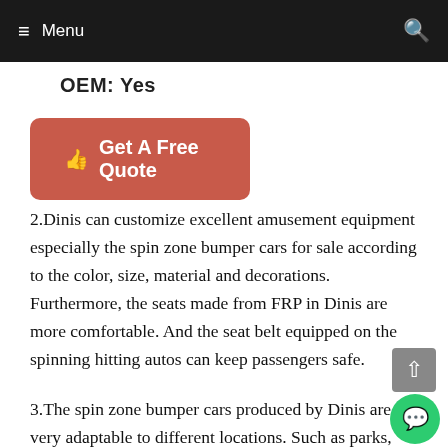≡ Menu
OEM: Yes
[Figure (other): Red rounded button labeled 'Get A Free Quote' with a hand pointer icon]
2.Dinis can customize excellent amusement equipment especially the spin zone bumper cars for sale according to the color, size, material and decorations. Furthermore, the seats made from FRP in Dinis are more comfortable. And the seat belt equipped on the spinning hitting autos can keep passengers safe.
3.The spin zone bumper cars produced by Dinis are very adaptable to different locations. Such as parks, zoos, squares, supermarkets, malls even ice or water surface. Last month we have received bulk orders from home